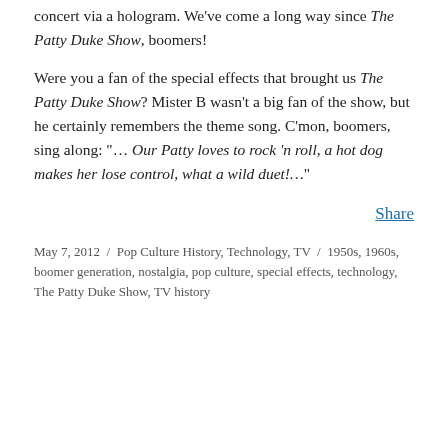concert via a hologram. We've come a long way since The Patty Duke Show, boomers!
Were you a fan of the special effects that brought us The Patty Duke Show? Mister B wasn't a big fan of the show, but he certainly remembers the theme song. C'mon, boomers, sing along: "… Our Patty loves to rock 'n roll, a hot dog makes her lose control, what a wild duet!…"
Share
May 7, 2012 / Pop Culture History, Technology, TV / 1950s, 1960s, boomer generation, nostalgia, pop culture, special effects, technology, The Patty Duke Show, TV history